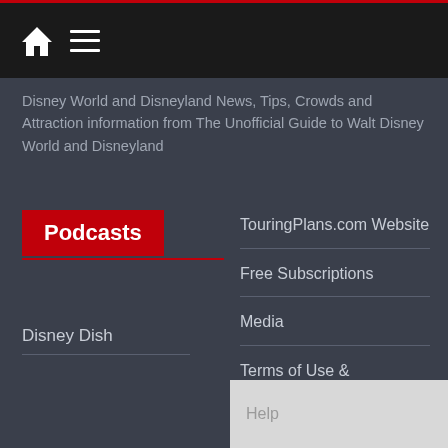Navigation bar with home icon and menu icon
Disney World and Disneyland News, Tips, Crowds and Attraction information from The Unofficial Guide to Walt Disney World and Disneyland
Podcasts
Disney Dish
TouringPlans.com Website
Free Subscriptions
Media
Terms of Use & Privacy Policy
Team
Jobs
Help